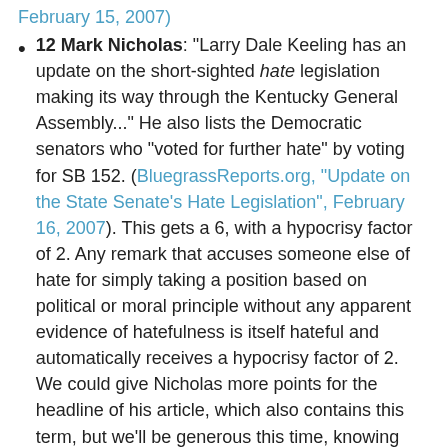February 15, 2007) [link]
12 Mark Nicholas: "Larry Dale Keeling has an update on the short-sighted hate legislation making its way through the Kentucky General Assembly..." He also lists the Democratic senators who "voted for further hate" by voting for SB 152. (BluegrassReports.org, "Update on the State Senate's Hate Legislation", February 16, 2007). This gets a 6, with a hypocrisy factor of 2. Any remark that accuses someone else of hate for simply taking a position based on political or moral principle without any apparent evidence of hatefulness is itself hateful and automatically receives a hypocrisy factor of 2. We could give Nicholas more points for the headline of his article, which also contains this term, but we'll be generous this time, knowing that his comments are likely to be detected by the Maledictometer many times in the future.
Now in order to show I'm fair, I'm going to take my lumps. I